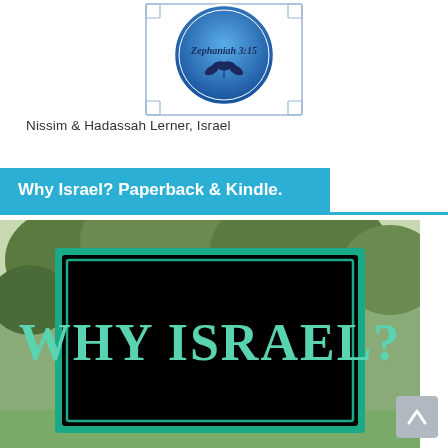[Figure (logo): Blue circular emblem with 'Zephaniah 3:15' text and decorative olive branch, set in a rectangular frame with corner ornaments]
Nissim & Hadassah Lerner, Israel
Why Israel? Paperback & Kindle.
[Figure (photo): Book cover for 'Why Israel?' showing large teal text on black rectangular sign overlaid on a nature background with trees and rocks]